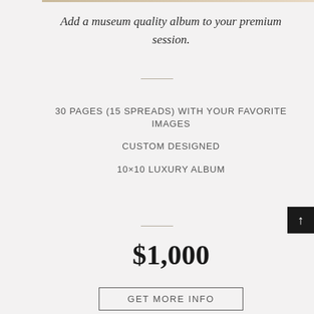Add a museum quality album to your premium session.
30 PAGES (15 SPREADS) WITH YOUR FAVORITE IMAGES
CUSTOM DESIGNED
10×10 LUXURY ALBUM
$1,000
GET MORE INFO